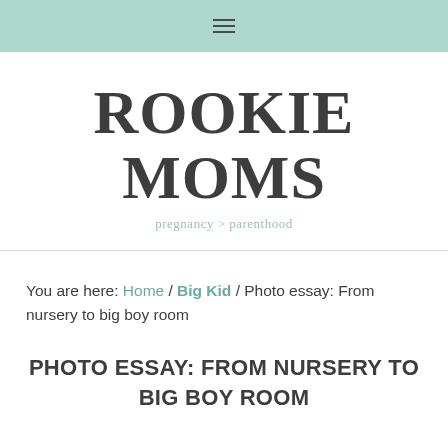≡
[Figure (logo): Rookie Moms logo with tagline 'pregnancy > parenthood']
You are here: Home / Big Kid / Photo essay: From nursery to big boy room
PHOTO ESSAY: FROM NURSERY TO BIG BOY ROOM